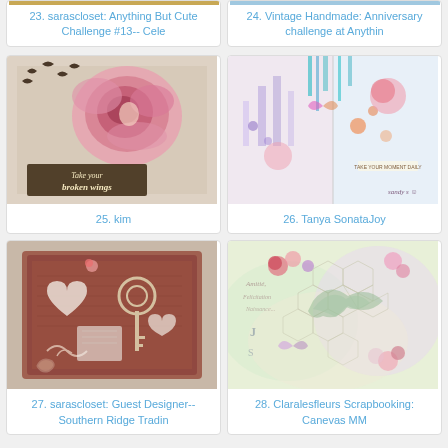[Figure (photo): Partial image at top, entry 23]
23. sarascloset: Anything But Cute Challenge #13-- Cele
[Figure (photo): Partial image at top, entry 24]
24. Vintage Handmade: Anniversary challenge at Anythin
[Figure (photo): Mixed media art journal page with pink roses, birds, text 'Take your broken wings', entry 25]
25. kim
[Figure (photo): Colorful mixed media artwork with castle, butterflies, flowers, entry 26]
26. Tanya SonataJoy
[Figure (photo): Mixed media canvas with key, hearts, lace, on dark pink/brown background, entry 27]
27. sarascloset: Guest Designer--Southern Ridge Tradin
[Figure (photo): Colorful mixed media canvas with bird, honeycomb pattern, flowers, entry 28]
28. Claralesfleurs Scrapbooking: Canevas MM